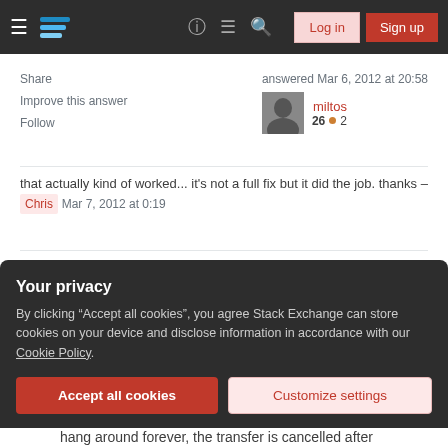[Figure (screenshot): Stack Exchange navigation bar with hamburger menu, logo, icons for help/chat/search, Log in and Sign up buttons]
Share
Improve this answer
Follow
answered Mar 6, 2012 at 20:58
miltos
26 • 2
that actually kind of worked... it's not a full fix but it did the job. thanks – Chris Mar 7, 2012 at 0:19
Add a comment
You should check for the value of
Your privacy
By clicking "Accept all cookies", you agree Stack Exchange can store cookies on your device and disclose information in accordance with our Cookie Policy.
Accept all cookies
Customize settings
hang around forever, the transfer is cancelled after